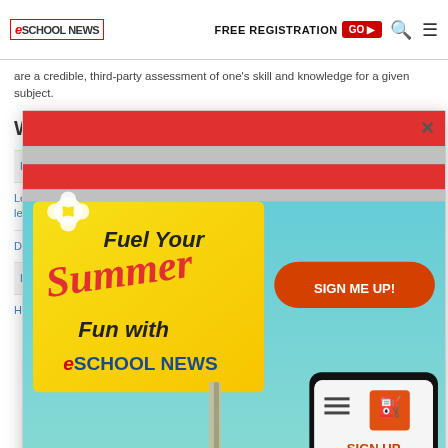eSchool News | FREE REGISTRATION GO ▶
are a credible, third-party assessment of one's skill and knowledge for a given subject.
Whitepapers and Resources
Distan…
Levera… learning…
Do mo…
Levera…
How to…
[Figure (advertisement): eSchool News summer promotion advertisement showing a blue VW van at a gas station with text 'Fuel Your Summer Fun with eSchool News', a 'SIGN ME UP!' button, and a phone showing 'SIGN UP to Enter the Weekly $50 GAS CARD GIVEAWAY!']